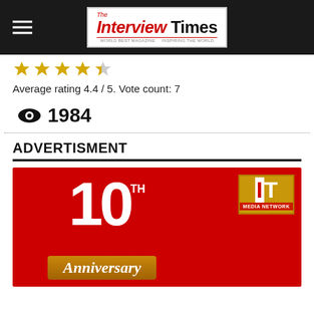The Interview Times
[Figure (illustration): Five gold star rating icons, approximately 4.4 out of 5 filled]
Average rating 4.4 / 5. Vote count: 7
👁 1984
ADVERTISMENT
[Figure (illustration): Red anniversary banner showing '10TH Anniversary' with IT Media Network logo box in gold border on the right]